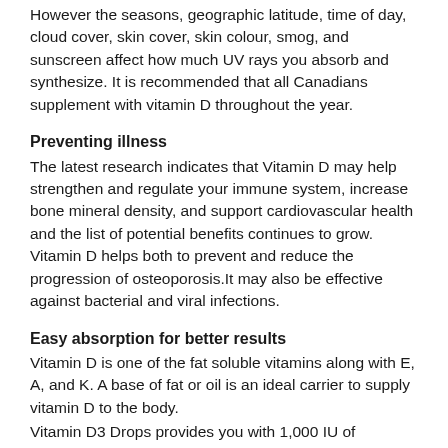However the seasons, geographic latitude, time of day, cloud cover, skin cover, skin colour, smog, and sunscreen affect how much UV rays you absorb and synthesize. It is recommended that all Canadians supplement with vitamin D throughout the year.
Preventing illness
The latest research indicates that Vitamin D may help strengthen and regulate your immune system, increase bone mineral density, and support cardiovascular health and the list of potential benefits continues to grow. Vitamin D helps both to prevent and reduce the progression of osteoporosis.It may also be effective against bacterial and viral infections.
Easy absorption for better results
Vitamin D is one of the fat soluble vitamins along with E, A, and K. A base of fat or oil is an ideal carrier to supply vitamin D to the body.
Vitamin D3 Drops provides you with 1,000 IU of